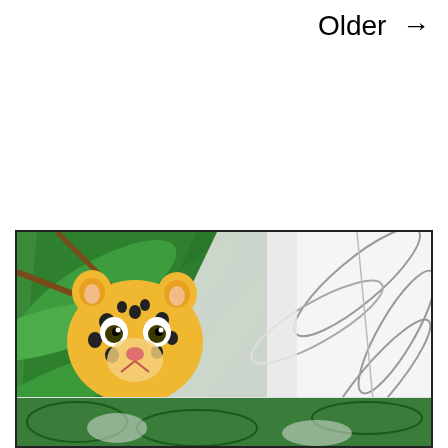Older →
[Figure (illustration): Cartoon jungle scene with a yellow and black spotted leopard cub peeking out from green jungle leaves on the left, and outline/coloring-book style jungle on the right. Bottom strip shows more jungle coloring book style artwork.]
Privacy & Cookies: This site uses cookies. By continuing to use this website, you agree to their use.
To find out more, including how to control cookies, see here: Cookie Policy
Close and accept